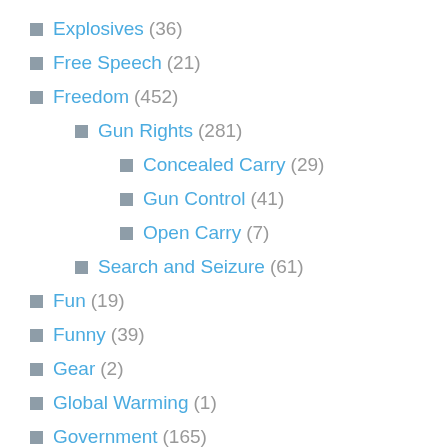Explosives (36)
Free Speech (21)
Freedom (452)
Gun Rights (281)
Concealed Carry (29)
Gun Control (41)
Open Carry (7)
Search and Seizure (61)
Fun (19)
Funny (39)
Gear (2)
Global Warming (1)
Government (165)